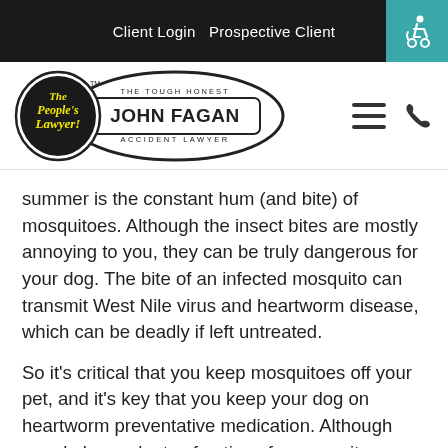Client Login  Prospective Client
[Figure (logo): The People's Lawyer — John Fagan, The Tough Honest Accident Lawyer logo]
summer is the constant hum (and bite) of mosquitoes. Although the insect bites are mostly annoying to you, they can be truly dangerous for your dog. The bite of an infected mosquito can transmit West Nile virus and heartworm disease, which can be deadly if left untreated.
So it's critical that you keep mosquitoes off your pet, and it's key that you keep your dog on heartworm preventative medication. Although people have plenty of options for mosquito repellents, there aren't so many choices for pets.